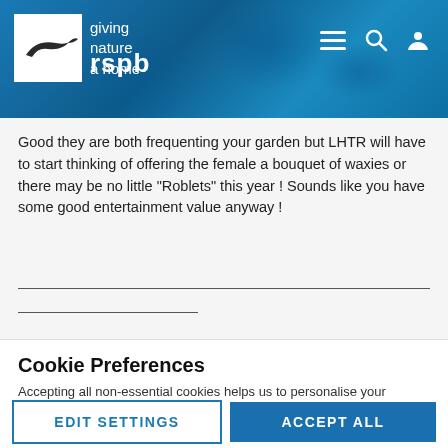[Figure (screenshot): RSPB website header with logo (bird silhouette on white square, 'rspb' text, 'giving nature a home' tagline), blue cracked-texture background, hamburger menu, search, and user icons top right]
Good they are both frequenting your garden but LHTR will have to start thinking of offering the female a bouquet of waxies or there may be no little "Roblets" this year ! Sounds like you have some good entertainment value anyway !
Cookie Preferences
Accepting all non-essential cookies helps us to personalise your experience
EDIT SETTINGS
ACCEPT ALL